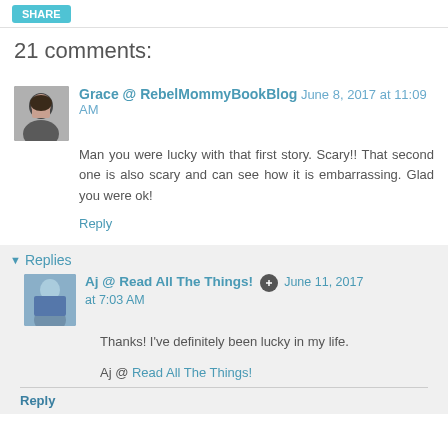SHARE
21 comments:
Grace @ RebelMommyBookBlog June 8, 2017 at 11:09 AM
Man you were lucky with that first story. Scary!! That second one is also scary and can see how it is embarrassing. Glad you were ok!
Reply
▼ Replies
Aj @ Read All The Things! June 11, 2017 at 7:03 AM
Thanks! I've definitely been lucky in my life.
Aj @ Read All The Things!
Reply